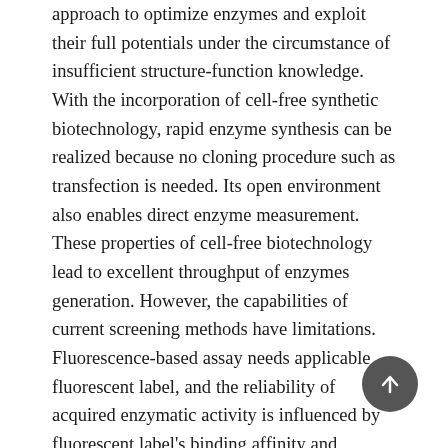approach to optimize enzymes and exploit their full potentials under the circumstance of insufficient structure-function knowledge. With the incorporation of cell-free synthetic biotechnology, rapid enzyme synthesis can be realized because no cloning procedure such as transfection is needed. Its open environment also enables direct enzyme measurement. These properties of cell-free biotechnology lead to excellent throughput of enzymes generation. However, the capabilities of current screening methods have limitations. Fluorescence-based assay needs applicable fluorescent label, and the reliability of acquired enzymatic activity is influenced by fluorescent label's binding affinity and photostability. To acquire the natural activity of an enzyme, another method is to combine pre-screening step and high-performance liquid chromatography (HPLC) measurement. But its throughput is limited by necessary time investment.